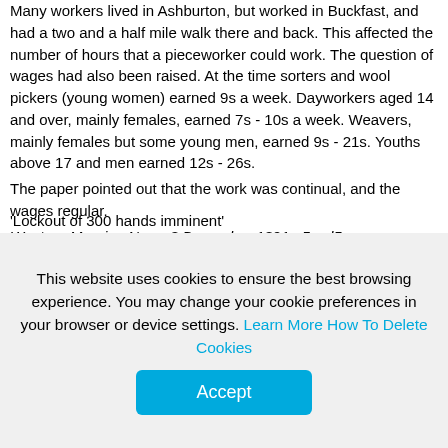Many workers lived in Ashburton, but worked in Buckfast, and had a two and a half mile walk there and back. This affected the number of hours that a pieceworker could work. The question of wages had also been raised. At the time sorters and wool pickers (young women) earned 9s a week. Dayworkers aged 14 and over, mainly females, earned 7s - 10s a week. Weavers, mainly females but some young men, earned 9s - 21s. Youths above 17 and men earned 12s - 26s.
The paper pointed out that the work was continual, and the wages regular.
Western Morning News 3 December 1891 p5 col5
'Lockout of 300 hands imminent'
Column heading, Western Morning News 4 December 1891 p3 col2
On December 11th, as the notice period expired, about 70 weavers left the Buckfast premises, leaving around 40 still at work. The absence of the weavers would affect all the other processes at the mills. It was difficult to estimate the number of other workers who were leaving, but it appeared to be a majority.
This website uses cookies to ensure the best browsing experience. You may change your cookie preferences in your browser or device settings. Learn More How To Delete Cookies